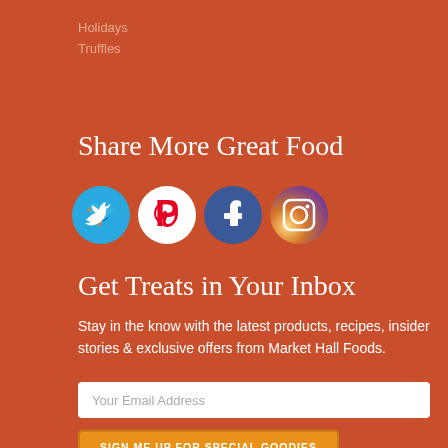Holidays
Truffles
Share More Great Food
[Figure (illustration): Four social media icons in circles: Twitter (blue bird), Pinterest (red P on white), Facebook (blue f), Instagram (camera icon)]
Get Treats in Your Inbox
Stay in the know with the latest products, recipes, insider stories & exclusive offers from Market Hall Foods.
Your Email Address
SIGN ME UP FOR SPECIAL GOODIES
Feed Your Facebook